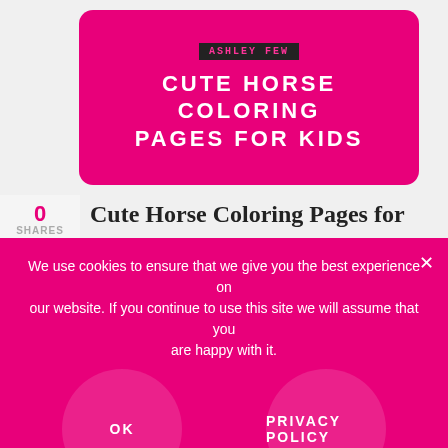[Figure (illustration): Pink rounded rectangle banner with 'CUTE HORSE COLORING PAGES FOR KIDS' in white uppercase bold text, with a small logo label above]
Cute Horse Coloring Pages for Kids
Note: As an Amazon Associate I earn from qualifying purchases. This means that I get commissions for purchases made through links in this post. Cute Horse Coloring Pages for Kids Do you love horses? Do you want to learn more
We use cookies to ensure that we give you the best experience on our website. If you continue to use this site we will assume that you are happy with it.
OK
PRIVACY POLICY